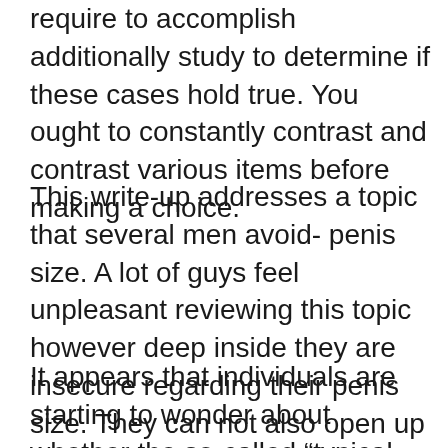require to accomplish additionally study to determine if these cases hold true. You ought to constantly contrast and contrast various items before making a choice.
This write-up addresses a topic that several men avoid- penis size. A lot of guys feel unpleasant reviewing this topic however deep inside they are insecure regarding their penis size. They can not also open up to doctors; for that reason, the issue continues to be unresolved.
It appears that individuals are starting to wonder about whether the so-called “typical penis size” really exists. If it does, after that exactly how come a lot of males whine concerning having issues with their